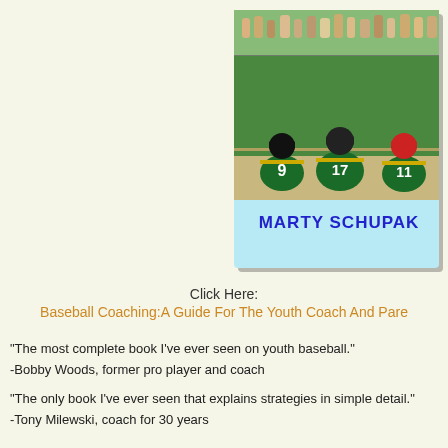[Figure (illustration): Book cover showing three youth baseball players in green jerseys numbered 9, 17, and 11 sitting with their backs to the camera, on a light blue background with author name MARTY SCHUPAK in bold blue text]
Click Here:
Baseball Coaching:A Guide For The Youth Coach And Parent
"The most complete book I've ever seen on youth baseball."
-Bobby Woods, former pro player and coach
"The only book I've ever seen that explains strategies in simple detail."
-Tony Milewski, coach for 30 years